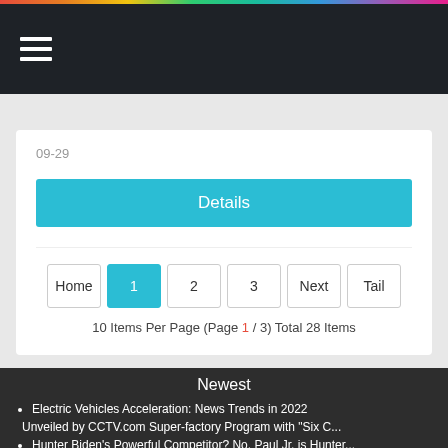Navigation menu header with hamburger icon
09-29
Details
10 Items Per Page (Page 1 / 3) Total 28 Items
Newest
Electric Vehicles Acceleration: News Trends in 2022
Unveiled by CCTV.com Super-factory Program with "Six C...
Hunter Biden's Powerful Competitor? No, Paul Jr. is Hunter...